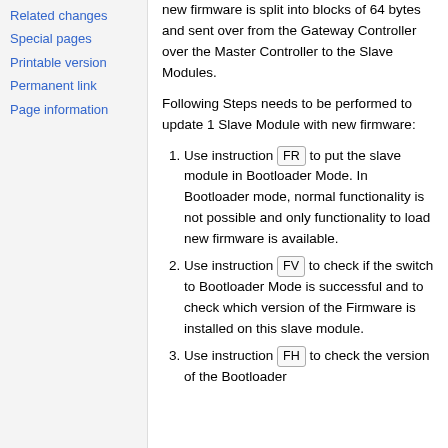Related changes
Special pages
Printable version
Permanent link
Page information
new firmware is split into blocks of 64 bytes and sent over from the Gateway Controller over the Master Controller to the Slave Modules.
Following Steps needs to be performed to update 1 Slave Module with new firmware:
1. Use instruction FR to put the slave module in Bootloader Mode. In Bootloader mode, normal functionality is not possible and only functionality to load new firmware is available.
2. Use instruction FV to check if the switch to Bootloader Mode is successful and to check which version of the Firmware is installed on this slave module.
3. Use instruction FH to check the version of the Bootloader